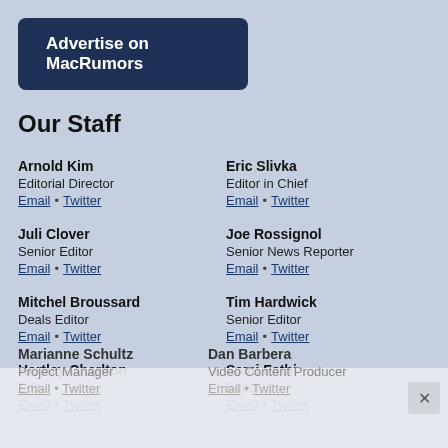[Figure (other): Dark navy blue button with white bold text 'Advertise on MacRumors']
Our Staff
Arnold Kim
Editorial Director
Email • Twitter
Eric Slivka
Editor in Chief
Email • Twitter
Juli Clover
Senior Editor
Email • Twitter
Joe Rossignol
Senior News Reporter
Email • Twitter
Mitchel Broussard
Deals Editor
Email • Twitter
Tim Hardwick
Senior Editor
Email • Twitter
Hartley Charlton
Editor
Email • Twitter
Sami Fathi
Editor
Email • Twitter
Marianne Schultz
Project Manager
Email • Twitter
Dan Barbera
Video Content Producer
Email • Twitter